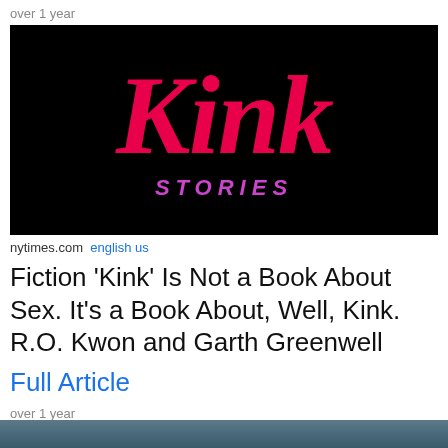over 1 year
[Figure (illustration): Book cover of 'Kink Stories' — black background with large bold red/pink italic text reading 'Kink' and below it in pink handwritten-style letters 'STORIES']
nytimes.com english us
Fiction 'Kink' Is Not a Book About Sex. It's a Book About, Well, Kink. R.O. Kwon and Garth Greenwell
Full Article
over 1 year